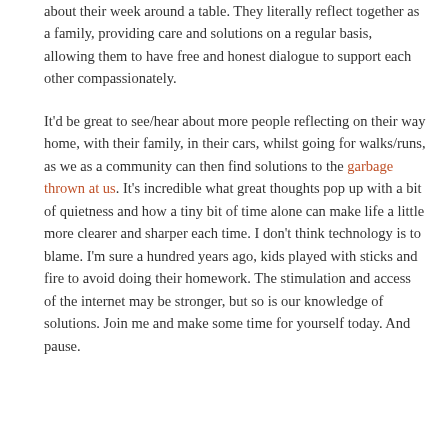about their week around a table. They literally reflect together as a family, providing care and solutions on a regular basis, allowing them to have free and honest dialogue to support each other compassionately.
It'd be great to see/hear about more people reflecting on their way home, with their family, in their cars, whilst going for walks/runs, as we as a community can then find solutions to the garbage thrown at us. It's incredible what great thoughts pop up with a bit of quietness and how a tiny bit of time alone can make life a little more clearer and sharper each time. I don't think technology is to blame. I'm sure a hundred years ago, kids played with sticks and fire to avoid doing their homework. The stimulation and access of the internet may be stronger, but so is our knowledge of solutions. Join me and make some time for yourself today. And pause.